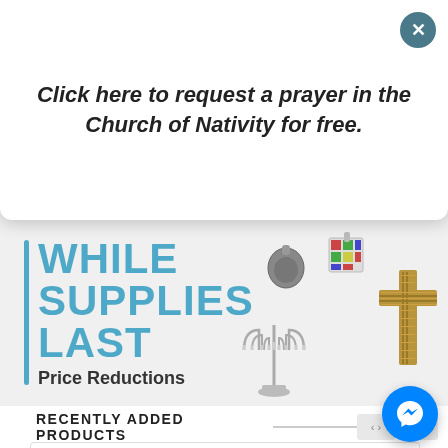Click here to request a prayer in the Church of Nativity for free.
[Figure (infographic): While Supplies Last Price Reductions banner with religious jewelry items: menorah, cross, pendants]
RECENTLY ADDED PRODUCTS
[Figure (photo): Close-up of a gold chain necklace]